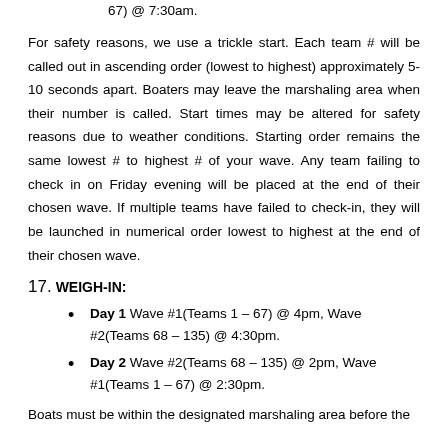67) @ 7:30am.
For safety reasons, we use a trickle start. Each team # will be called out in ascending order (lowest to highest) approximately 5-10 seconds apart. Boaters may leave the marshaling area when their number is called. Start times may be altered for safety reasons due to weather conditions. Starting order remains the same lowest # to highest # of your wave. Any team failing to check in on Friday evening will be placed at the end of their chosen wave. If multiple teams have failed to check-in, they will be launched in numerical order lowest to highest at the end of their chosen wave.
17. WEIGH-IN:
Day 1 Wave #1(Teams 1 – 67) @ 4pm, Wave #2(Teams 68 – 135) @ 4:30pm.
Day 2 Wave #2(Teams 68 – 135) @ 2pm, Wave #1(Teams 1 – 67) @ 2:30pm.
Boats must be within the designated marshaling area before the